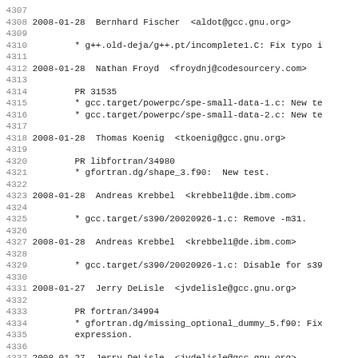4307
4308 2008-01-28  Bernhard Fischer  <aldot@gcc.gnu.org>
4309
4310         * g++.old-deja/g++.pt/incomplete1.C: Fix typo i
4311
4312 2008-01-28  Nathan Froyd  <froydnj@codesourcery.com>
4313
4314         PR 31535
4315         * gcc.target/powerpc/spe-small-data-1.c: New te
4316         * gcc.target/powerpc/spe-small-data-2.c: New te
4317
4318 2008-01-28  Thomas Koenig  <tkoenig@gcc.gnu.org>
4319
4320         PR libfortran/34980
4321         * gfortran.dg/shape_3.f90:  New test.
4322
4323 2008-01-28  Andreas Krebbel  <krebbel1@de.ibm.com>
4324
4325         * gcc.target/s390/20020926-1.c: Remove -m31.
4326
4327 2008-01-28  Andreas Krebbel  <krebbel1@de.ibm.com>
4328
4329         * gcc.target/s390/20020926-1.c: Disable for s39
4330
4331 2008-01-27  Jerry DeLisle  <jvdelisle@gcc.gnu.org>
4332
4333         PR fortran/34994
4334         * gfortran.dg/missing_optional_dummy_5.f90: Fix
4335         expression.
4336
4337 2008-01-27  Jerry DeLisle  <jvdelisle@gcc.gnu.org>
4338